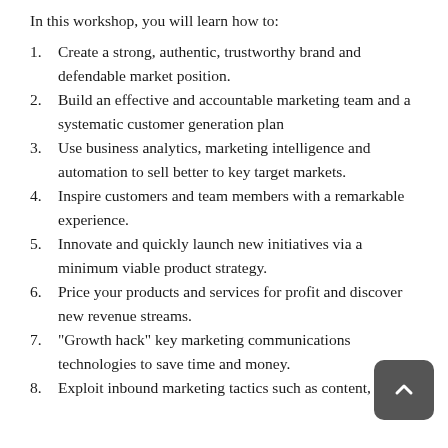In this workshop, you will learn how to:
Create a strong, authentic, trustworthy brand and defendable market position.
Build an effective and accountable marketing team and a systematic customer generation plan
Use business analytics, marketing intelligence and automation to sell better to key target markets.
Inspire customers and team members with a remarkable experience.
Innovate and quickly launch new initiatives via a minimum viable product strategy.
Price your products and services for profit and discover new revenue streams.
“Growth hack” key marketing communications technologies to save time and money.
Exploit inbound marketing tactics such as content,